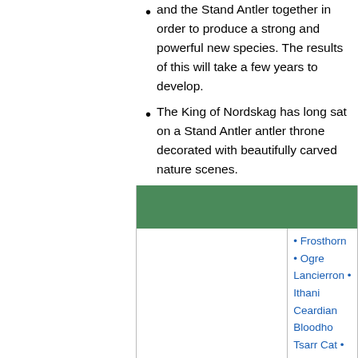and the Stand Antler together in order to produce a strong and powerful new species. The results of this will take a few years to develop.
The King of Nordskag has long sat on a Stand Antler antler throne decorated with beautifully carved nature scenes.
|  |  |
| --- | --- |
| Mammals | • Frosthorn • Ogre Lancierron • Ithani Ceardian Bloodho Tsarr Cat • Pygme Cat • Gallovian Ge Wódbehaeri • Cal Badger • Anglian N Stallion • Blubber Longear • Sibraxa Mouse • White Fa |